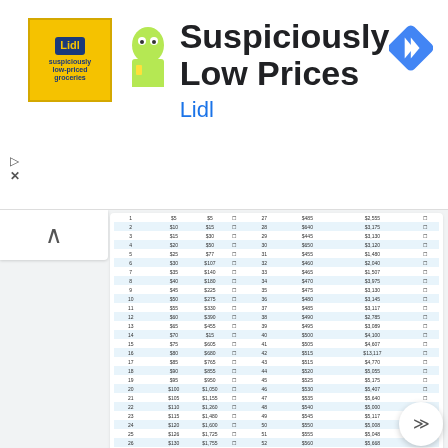[Figure (screenshot): Lidl advertisement banner with yellow logo and 'Suspiciously Low Prices' headline]
[Figure (table-as-image): 52 Week Money Saving Challenge table with two columns of week numbers, weekly deposit amounts, totals, and checkboxes]
52 Week Money Saving Challenge $5
[Figure (screenshot): Monthly Budget Plan header with Income and Expenses sections partially visible]